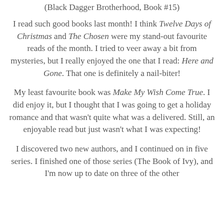(Black Dagger Brotherhood, Book #15)
I read such good books last month! I think Twelve Days of Christmas and The Chosen were my stand-out favourite reads of the month. I tried to veer away a bit from mysteries, but I really enjoyed the one that I read: Here and Gone. That one is definitely a nail-biter!
My least favourite book was Make My Wish Come True. I did enjoy it, but I thought that I was going to get a holiday romance and that wasn't quite what was a delivered. Still, an enjoyable read but just wasn't what I was expecting!
I discovered two new authors, and I continued on in five series. I finished one of those series (The Book of Ivy), and I'm now up to date on three of the other